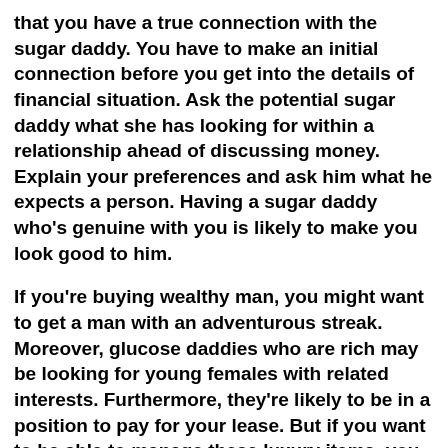that you have a true connection with the sugar daddy. You have to make an initial connection before you get into the details of financial situation. Ask the potential sugar daddy what she has looking for within a relationship ahead of discussing money. Explain your preferences and ask him what he expects a person. Having a sugar daddy who's genuine with you is likely to make you look good to him.
If you're buying wealthy man, you might want to get a man with an adventurous streak. Moreover, glucose daddies who are rich may be looking for young females with related interests. Furthermore, they're likely to be in a position to pay for your lease. But if you want to be able to manage these luxury items, you can always use